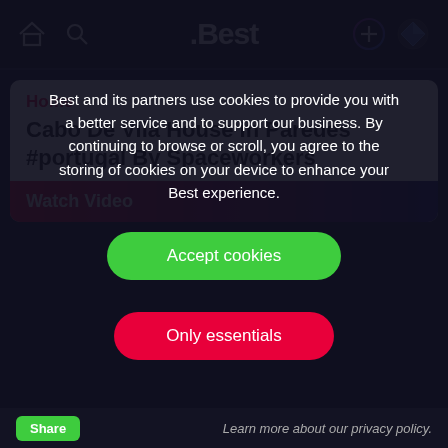.Best
Home
Cabo De Vila House In Paredes #portugal By Spaceworkers
Watch Video
Best and its partners use cookies to provide you with a better service and to support our business. By continuing to browse or scroll, you agree to the storing of cookies on your device to enhance your Best experience.
Accept cookies
Only essentials
Learn more about our privacy policy.